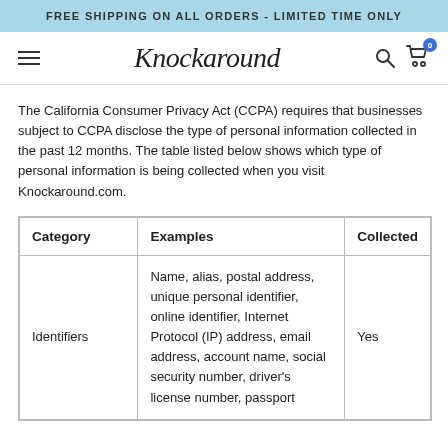FREE SHIPPING ON ALL ORDERS - LIMITED TIME ONLY
[Figure (logo): Knockaround cursive logo with hamburger menu, search icon, and cart icon with badge 0]
The California Consumer Privacy Act (CCPA) requires that businesses subject to CCPA disclose the type of personal information collected in the past 12 months. The table listed below shows which type of personal information is being collected when you visit Knockaround.com.
| Category | Examples | Collected |
| --- | --- | --- |
| Identifiers | Name, alias, postal address, unique personal identifier, online identifier, Internet Protocol (IP) address, email address, account name, social security number, driver's license number, passport | Yes |